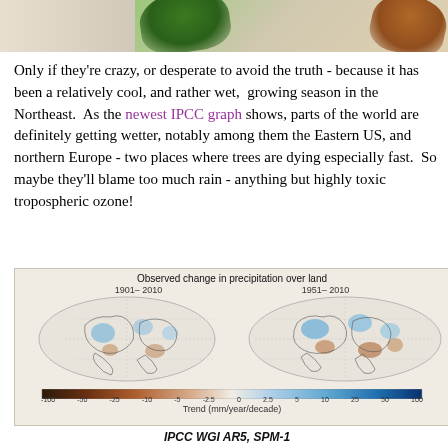[Figure (photo): Top strip showing green leaf on left and brown/orange leaf on right against a muted background]
Only if they're crazy, or desperate to avoid the truth - because it has been a relatively cool, and rather wet, growing season in the Northeast. As the newest IPCC graph shows, parts of the world are definitely getting wetter, notably among them the Eastern US, and northern Europe - two places where trees are dying especially fast. So maybe they'll blame too much rain - anything but highly toxic tropospheric ozone!
[Figure (map): IPCC map showing observed change in precipitation over land for two periods: 1901-2010 and 1951-2010. Color scale shows trend in mm/year/decade from -100 to 100. Blues indicate wetter, browns indicate drier.]
IPCC WGI AR5, SPM-1